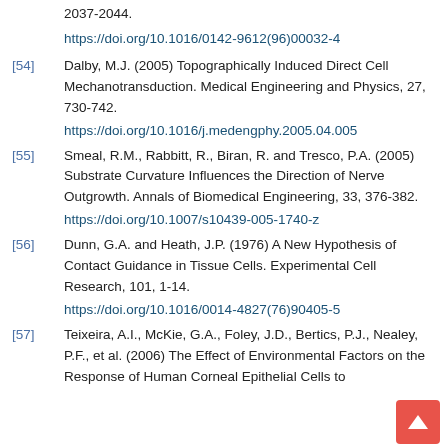2037-2044.
https://doi.org/10.1016/0142-9612(96)00032-4
[54] Dalby, M.J. (2005) Topographically Induced Direct Cell Mechanotransduction. Medical Engineering and Physics, 27, 730-742. https://doi.org/10.1016/j.medengphy.2005.04.005
[55] Smeal, R.M., Rabbitt, R., Biran, R. and Tresco, P.A. (2005) Substrate Curvature Influences the Direction of Nerve Outgrowth. Annals of Biomedical Engineering, 33, 376-382. https://doi.org/10.1007/s10439-005-1740-z
[56] Dunn, G.A. and Heath, J.P. (1976) A New Hypothesis of Contact Guidance in Tissue Cells. Experimental Cell Research, 101, 1-14. https://doi.org/10.1016/0014-4827(76)90405-5
[57] Teixeira, A.I., McKie, G.A., Foley, J.D., Bertics, P.J., Nealey, P.F., et al. (2006) The Effect of Environmental Factors on the Response of Human Corneal Epithelial Cells to...